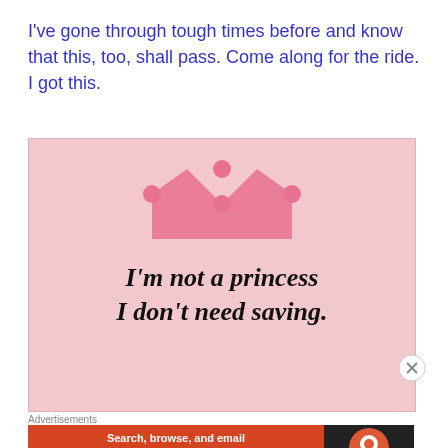I've gone through tough times before and know that this, too, shall pass. Come along for the ride. I got this.
[Figure (illustration): Pink crown graphic above text 'I'm not a princess I don't need saving.' on a pink background]
Advertisements
[Figure (screenshot): DuckDuckGo advertisement banner: 'Search, browse, and email with more privacy. All in One Free App' on orange background with DuckDuckGo logo on dark background]